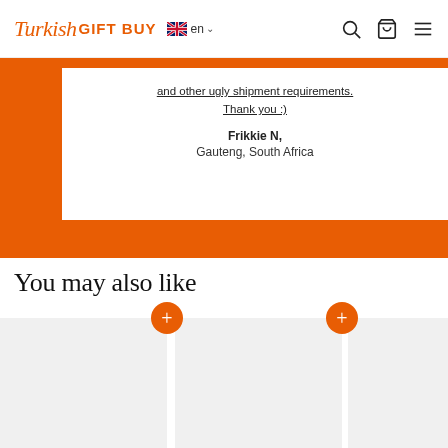Turkish GIFT BUY  en
and other ugly shipment requirements.
Thank you :)
Frikkie N,
Gauteng, South Africa
You may also like
[Figure (photo): Product card placeholder 1 with orange + add button]
[Figure (photo): Product card placeholder 2 with orange + add button]